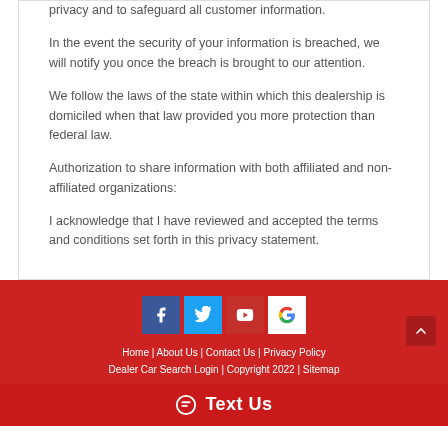privacy and to safeguard all customer information.
In the event the security of your information is breached, we will notify you once the breach is brought to our attention.
We follow the laws of the state within which this dealership is domiciled when that law provided you more protection than federal law.
Authorization to share information with both affiliated and non-affiliated organizations:
I acknowledge that I have reviewed and accepted the terms and conditions set forth in this privacy statement.
Home | About Us | Contact Us | Privacy Policy | Dealer Car Search Login | Copyright 2022 | Sitemap | Text Us